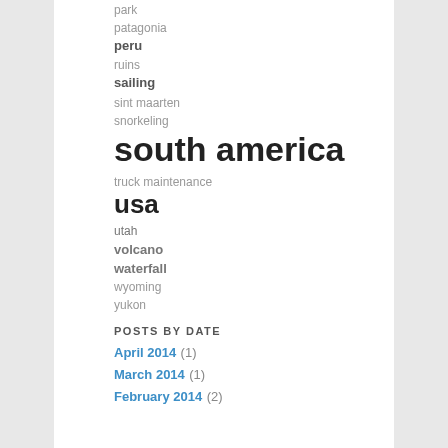park
patagonia
peru
ruins
sailing
sint maarten
snorkeling
south america
truck maintenance
usa
utah
volcano
waterfall
wyoming
yukon
POSTS BY DATE
April 2014 (1)
March 2014 (1)
February 2014 (2)